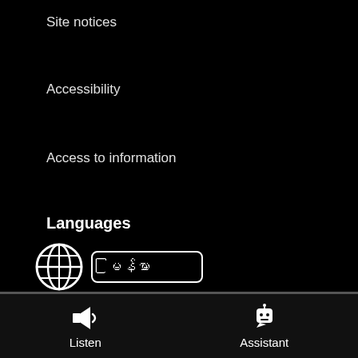Site notices
Accessibility
Access to information
Languages
[Figure (other): Globe icon with language selector showing Myanmar text (မြန်မာ) in a rounded rectangle]
Follow us
[Figure (other): Social media icons: Facebook, Twitter, YouTube]
Listen | Assistant